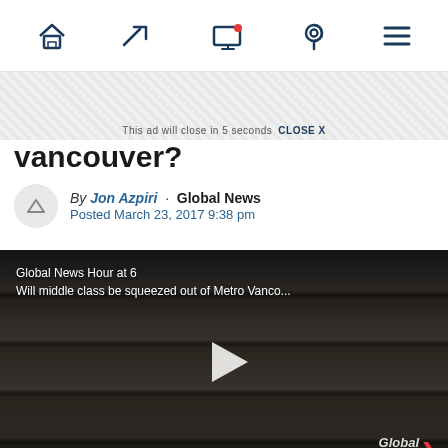Navigation bar with home, trending, notifications, location, and menu icons
This ad will close in 5 seconds  CLOSE X
vancouver?
By Jon Azpiri · Global News
Posted March 23, 2017 9:38 pm
[Figure (screenshot): Video thumbnail showing Global News Hour at 6 — 'Will middle class be squeezed out of Metro Vanco...' with a play button overlay and Global BC logo, background shows apartment building bookshelf-like facade]